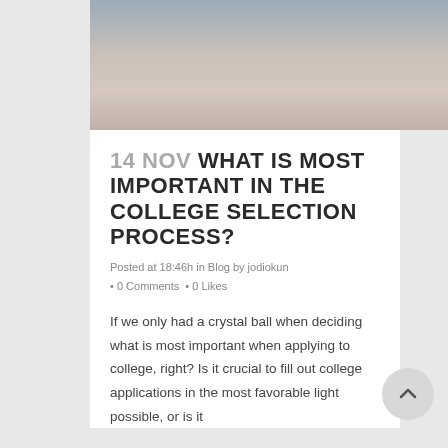[Figure (photo): Close-up photo of a person (student) from the chin/neck area, wearing a grey hoodie, with a hand gesture visible]
14 NOV WHAT IS MOST IMPORTANT IN THE COLLEGE SELECTION PROCESS?
Posted at 18:46h in Blog by jodiokun • 0 Comments • 0 Likes
If we only had a crystal ball when deciding what is most important when applying to college, right? Is it crucial to fill out college applications in the most favorable light possible, or is it